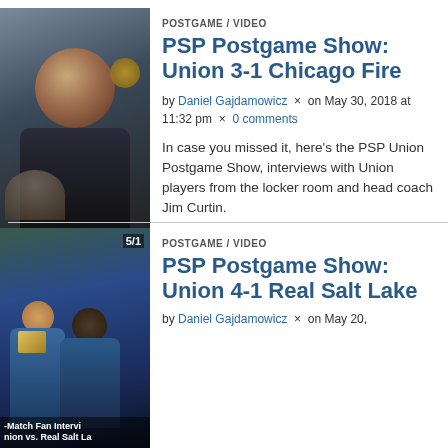[Figure (photo): Smiling man selfie photo, dark background with partial logo/text visible]
POSTGAME / VIDEO
PSP Postgame Show: Union 3-1 Chicago Fire
by Daniel Gajdamowicz × on May 30, 2018 at 11:32 pm × 0 comments
In case you missed it, here's the PSP Union Postgame Show, interviews with Union players from the locker room and head coach Jim Curtin.
[Figure (photo): Two fans holding snacks at a match, with text overlay '5/1' and caption text 'Match Fan Intervi... nion vs. Real Salt La...']
POSTGAME / VIDEO
PSP Postgame Show: Union 4-1 Real Salt Lake
by Daniel Gajdamowicz × on May 20,